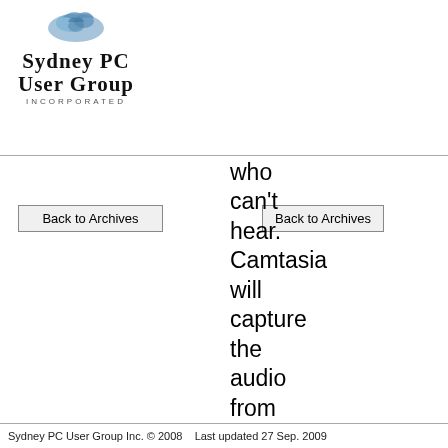[Figure (logo): Sydney PC User Group Incorporated logo with bird/animal icon above the text]
who can't hear. Camtasia will capture the audio from your video and create a set of captions or you can create your
Back to Archives
Back to Archives
Sydney PC User Group Inc. © 2008    Last updated 27 Sep. 2009